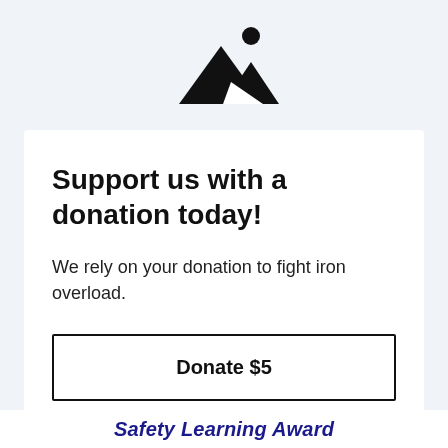[Figure (logo): Mountain landscape icon: two black triangular mountains with a black circle (sun/moon) to the upper right]
Support us with a donation today!
We rely on your donation to fight iron overload.
Donate $5
Safety Learning Award